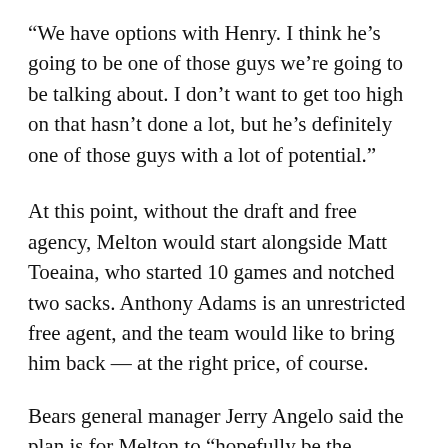“We have options with Henry. I think he’s going to be one of those guys we’re going to be talking about. I don’t want to get too high on that hasn’t done a lot, but he’s definitely one of those guys with a lot of potential.”
At this point, without the draft and free agency, Melton would start alongside Matt Toeaina, who started 10 games and notched two sacks. Anthony Adams is an unrestricted free agent, and the team would like to bring him back — at the right price, of course.
Bears general manager Jerry Angelo said the plan is for Melton to “hopefully be the starter.” But, the Bears could still draft a defensive tackle with the 29th overall pick, because this year’s rookie class is so deep at the position.